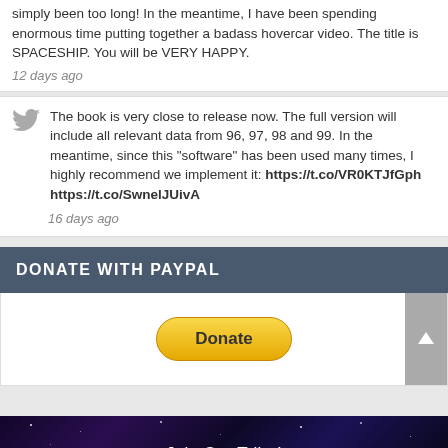simply been too long! In the meantime, I have been spending enormous time putting together a badass hovercar video. The title is SPACESHIP. You will be VERY HAPPY.
12 days ago
The book is very close to release now. The full version will include all relevant data from 96, 97, 98 and 99. In the meantime, since this "software" has been used many times, I highly recommend we implement it: https://t.co/VR0KTJfGph https://t.co/SwnelJUivA
16 days ago
DONATE WITH PAYPAL
[Figure (other): PayPal Donate button - yellow rounded rectangle with 'Donate' text]
Join Our Tribe!